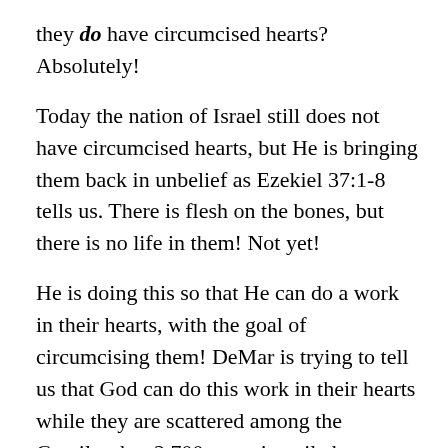they do have circumcised hearts? Absolutely!
Today the nation of Israel still does not have circumcised hearts, but He is bringing them back in unbelief as Ezekiel 37:1-8 tells us. There is flesh on the bones, but there is no life in them! Not yet!
He is doing this so that He can do a work in their hearts, with the goal of circumcising them! DeMar is trying to tell us that God can do this work in their hearts while they are scattered among the Gentiles, but 2,700 years in exile has not accomplished this feat! What difference would a few more years make? No. Only the Time of Jacob’s Trouble, the Great Tribulation, will be finally able to soften their hearts.
In this light, is it beyond reason that those who are in fleshly bodies will have to undergo circumcision, both physically and